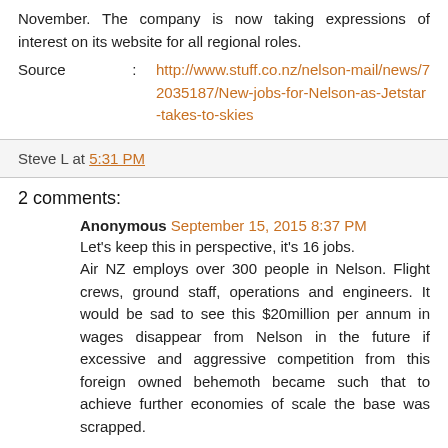November. The company is now taking expressions of interest on its website for all regional roles.
Source : http://www.stuff.co.nz/nelson-mail/news/72035187/New-jobs-for-Nelson-as-Jetstar-takes-to-skies
Steve L at 5:31 PM
2 comments:
Anonymous September 15, 2015 8:37 PM
Let's keep this in perspective, it's 16 jobs.
Air NZ employs over 300 people in Nelson. Flight crews, ground staff, operations and engineers. It would be sad to see this $20million per annum in wages disappear from Nelson in the future if excessive and aggressive competition from this foreign owned behemoth became such that to achieve further economies of scale the base was scrapped.